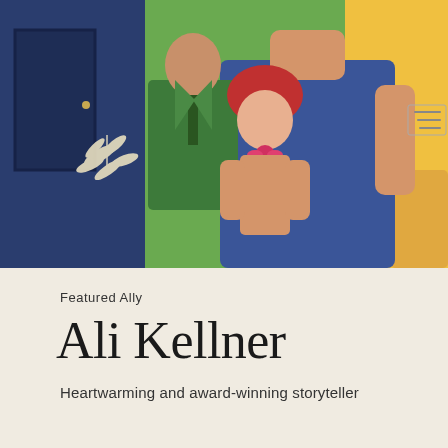[Figure (illustration): Animated illustration showing cartoon characters: a figure in a green suit on the left, a short character with a red mushroom-shaped hat in the center, a large figure in a dark blue tank top in the foreground, and a figure in orange/yellow on the right. Background includes a dark blue/navy door on the left side and green foliage. A white leaf/fern motif is visible on the left, and a small menu icon appears in the upper right corner.]
Featured Ally
Ali Kellner
Heartwarming and award-winning storyteller